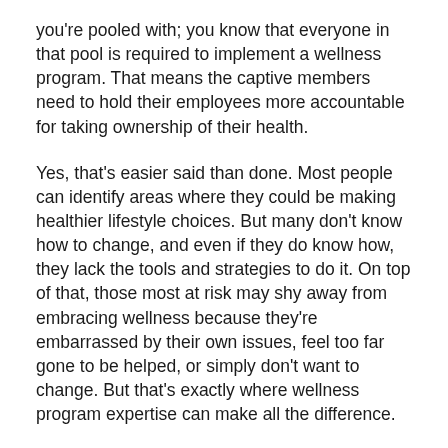you're pooled with; you know that everyone in that pool is required to implement a wellness program. That means the captive members need to hold their employees more accountable for taking ownership of their health.
Yes, that's easier said than done. Most people can identify areas where they could be making healthier lifestyle choices. But many don't know how to change, and even if they do know how, they lack the tools and strategies to do it. On top of that, those most at risk may shy away from embracing wellness because they're embarrassed by their own issues, feel too far gone to be helped, or simply don't want to change. But that's exactly where wellness program expertise can make all the difference.
M3 has a wellness team that guides clients on the most effective ways to establish wellness...